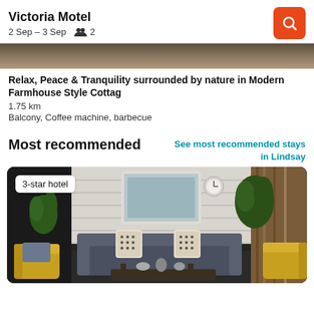Victoria Motel — 2 Sep – 3 Sep   2
[Figure (photo): Partial top of a nature/cottage outdoor photo, cropped]
Relax, Peace & Tranquility surrounded by nature in Modern Farmhouse Style Cottag
1.75 km
Balcony, Coffee machine, barbecue
Most recommended
See most recommended stays in Lindsay
[Figure (photo): Hotel lobby with gray sofas, patterned pillows, yellow chairs, potted plants, and a mirror on a white brick wall. Badge reads '3-star hotel'.]